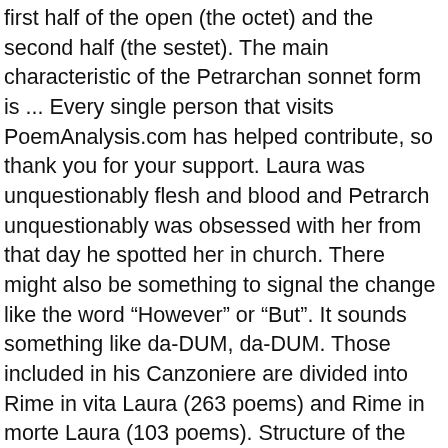first half of the open (the octet) and the second half (the sestet). The main characteristic of the Petrarchan sonnet form is ... Every single person that visits PoemAnalysis.com has helped contribute, so thank you for your support. Laura was unquestionably flesh and blood and Petrarch unquestionably was obsessed with her from that day he spotted her in church. There might also be something to signal the change like the word “However” or “But”. It sounds something like da-DUM, da-DUM. Those included in his Canzoniere are divided into Rime in vita Laura (263 poems) and Rime in morte Laura (103 poems). Structure of the Petrarchan/Italian Sonnet, I saw no Way – The Heavens were stitched by Emily Dickinson. In this section the speaker is laying out the main issue at hand, a woman that he can’t reach. 13-17 The Sonnets, Triumphs, and other Poems of Petrarch, Translated into English Verse by Various Hands. The poems treat a variety of moods and subjects but particularly his intense psychological reactions to his beloved. Take a look at these lines from the octet: Whoso list to hunt, I know where is